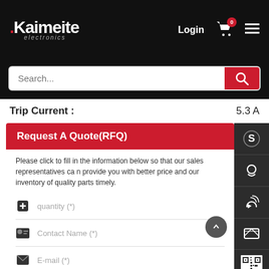[Figure (logo): Kaimeite electronics logo with red dot and white text on black background]
Login
[Figure (screenshot): Shopping cart icon with red badge showing 0]
[Figure (screenshot): Hamburger menu icon]
Search...
Trip Current :
5.3 A
Request A Quote(RFQ)
Please click to fill in the information below so that our sales representatives can provide you with better price and our inventory of quality parts timely.
quantity (*)
Contact Name (*)
E-mail (*)
tel(*)